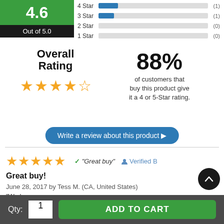[Figure (infographic): Green box showing rating 4.6 out of 5.0]
[Figure (bar-chart): Star rating distribution]
Overall Rating
[Figure (infographic): 4.5 out of 5 orange stars (overall rating)]
88% of customers that buy this product give it a 4 or 5-Star rating.
Write a review about this product ▶
[Figure (infographic): 5 orange stars review rating]
✓ "Great buy"   👤 Verified B
Great buy!
June 28, 2017 by Tess M. (CA, United States)
"We have...
Qty: 1   ADD TO CART